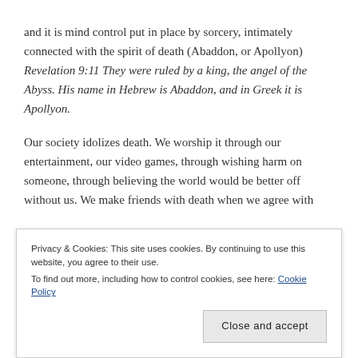and it is mind control put in place by sorcery, intimately connected with the spirit of death (Abaddon, or Apollyon) Revelation 9:11 They were ruled by a king, the angel of the Abyss. His name in Hebrew is Abaddon, and in Greek it is Apollyon.
Our society idolizes death. We worship it through our entertainment, our video games, through wishing harm on someone, through believing the world would be better off without us. We make friends with death when we agree with hopelessness. Without a vision (hope for what God will do), we...
Privacy & Cookies: This site uses cookies. By continuing to use this website, you agree to their use.
To find out more, including how to control cookies, see here: Cookie Policy